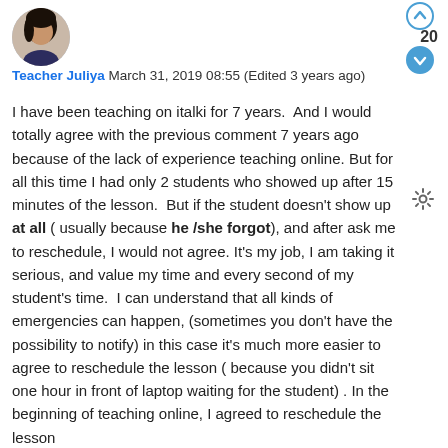[Figure (photo): Circular avatar photo of Teacher Juliya, a woman with dark hair]
Teacher Juliya March 31, 2019 08:55 (Edited 3 years ago)
I have been teaching on italki for 7 years.  And I would totally agree with the previous comment 7 years ago because of the lack of experience teaching online. But for all this time I had only 2 students who showed up after 15 minutes of the lesson.  But if the student doesn't show up at all ( usually because he /she forgot), and after ask me to reschedule, I would not agree. It's my job, I am taking it serious, and value my time and every second of my student's time.  I can understand that all kinds of emergencies can happen, (sometimes you don't have the possibility to notify) in this case it's much more easier to agree to reschedule the lesson ( because you didn't sit one hour in front of laptop waiting for the student) . In the beginning of teaching online, I agreed to reschedule the lesson